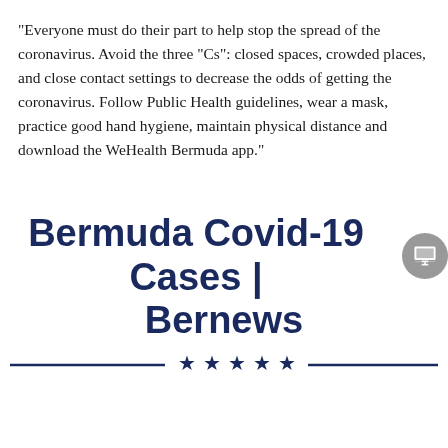“Everyone must do their part to help stop the spread of the coronavirus. Avoid the three “Cs”: closed spaces, crowded places, and close contact settings to decrease the odds of getting the coronavirus. Follow Public Health guidelines, wear a mask, practice good hand hygiene, maintain physical distance and download the WeHealth Bermuda app.”
Bermuda Covid-19 Cases | Bernews